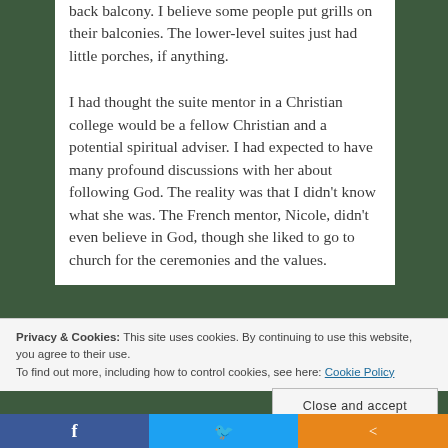back balcony.  I believe some people put grills on their balconies.  The lower-level suites just had little porches, if anything.
I had thought the suite mentor in a Christian college would be a fellow Christian and a potential spiritual adviser.  I had expected to have many profound discussions with her about following God.  The reality was that I didn’t know what she was.  The French mentor, Nicole, didn’t even believe in God, though she liked to go to church for the ceremonies and the values.
Privacy & Cookies: This site uses cookies. By continuing to use this website, you agree to their use.
To find out more, including how to control cookies, see here: Cookie Policy
Close and accept